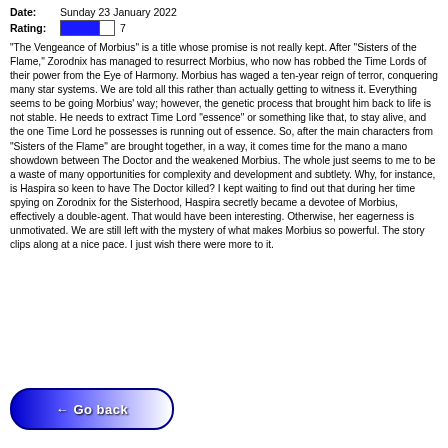Date: Sunday 23 January 2022
Rating: 7
"The Vengeance of Morbius" is a title whose promise is not really kept. After "Sisters of the Flame," Zorodnix has managed to resurrect Morbius, who now has robbed the Time Lords of their power from the Eye of Harmony. Morbius has waged a ten-year reign of terror, conquering many star systems. We are told all this rather than actually getting to witness it. Everything seems to be going Morbius' way; however, the genetic process that brought him back to life is not stable. He needs to extract Time Lord "essence" or something like that, to stay alive, and the one Time Lord he possesses is running out of essence. So, after the main characters from "Sisters of the Flame" are brought together, in a way, it comes time for the mano a mano showdown between The Doctor and the weakened Morbius. The whole just seems to me to be a waste of many opportunities for complexity and development and subtlety. Why, for instance, is Haspira so keen to have The Doctor killed? I kept waiting to find out that during her time spying on Zorodnix for the Sisterhood, Haspira secretly became a devotee of Morbius, effectively a double-agent. That would have been interesting. Otherwise, her eagerness is unmotivated. We are still left with the mystery of what makes Morbius so powerful. The story clips along at a nice pace. I just wish there were more to it.
[Figure (other): Go back button — blue gradient pill-shaped button with left arrow and text 'Go back']